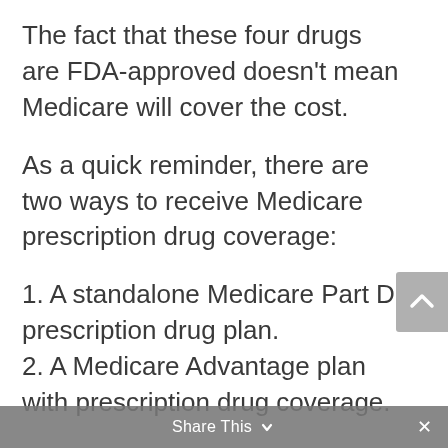The fact that these four drugs are FDA-approved doesn't mean Medicare will cover the cost.
As a quick reminder, there are two ways to receive Medicare prescription drug coverage:
1. A standalone Medicare Part D prescription drug plan.
2. A Medicare Advantage plan with prescription drug coverage.
Medicare's coverage of cannabinoid medications depends on the type of
Share This ×